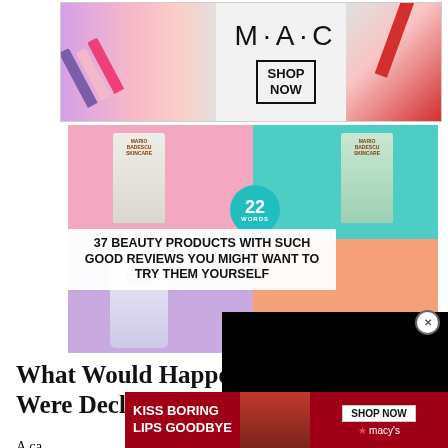[Figure (photo): MAC Cosmetics advertisement banner showing colorful lipsticks on left and right, MAC logo in center with SHOP NOW box]
[Figure (photo): BuzzFeed-style article thumbnail with Mario Badescu skincare products on colorful quadrant background (pink, teal, purple, orange), '22 WORDS' badge in teal circle, white overlay text '37 BEAUTY PRODUCTS WITH SUCH GOOD REVIEWS YOU MIGHT WANT TO TRY THEM YOURSELF']
[Figure (photo): Black video overlay rectangle in lower right portion of page]
What Would Happen If Martial Law Were Declared in America?
[Figure (photo): Macy's advertisement with red background showing KISS BORING LIPS GOODBYE text, lips photo, SHOP NOW button and Macy's star logo]
A ca... Unit... nds